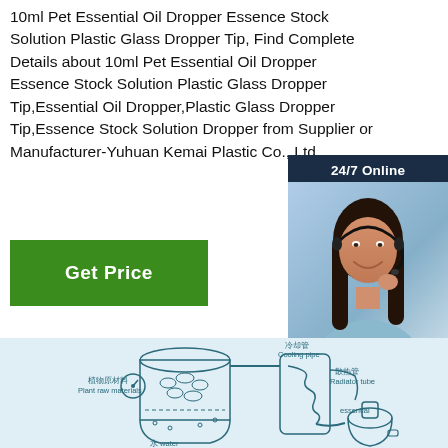10ml Pet Essential Oil Dropper Essence Stock Solution Plastic Glass Dropper Tip, Find Complete Details about 10ml Pet Essential Oil Dropper Essence Stock Solution Plastic Glass Dropper Tip,Essential Oil Dropper,Plastic Glass Dropper Tip,Essence Stock Solution Dropper from Supplier or Manufacturer-Yuhuan Kemai Plastic Co., Ltd.
[Figure (other): Green 'Get Price' button]
[Figure (other): 24/7 Online chat widget with photo of a smiling woman wearing a headset, 'Click here for free chat!' text, and QUOTATION button]
[Figure (schematic): Essential oil distillation process diagram showing plant raw materials (植物原材料), water (水 water), cooling pipe (冷却管 Cooling pipe), radiator tube (散热管 Radiator tube), and essential oil collection vessel, with Chinese and English labels]